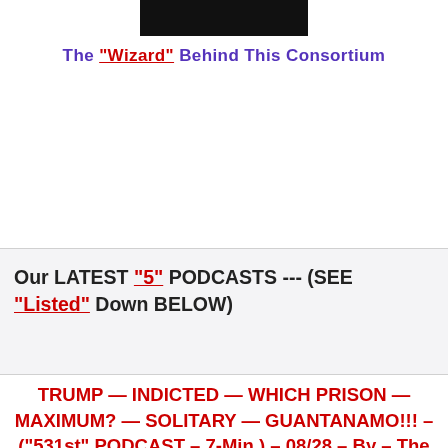[Figure (photo): Dark/black image banner at top of page]
The "Wizard" Behind This Consortium
Our LATEST "5" PODCASTS --- (SEE "Listed" Down BELOW)
TRUMP — INDICTED — WHICH PRISON — MAXIMUM? — SOLITARY — GUANTANAMO!!! – ("531st" PODCAST – 7-Min.) – 08/28 – By – The NiteRydr — (TWITTER – @paulrevererider)